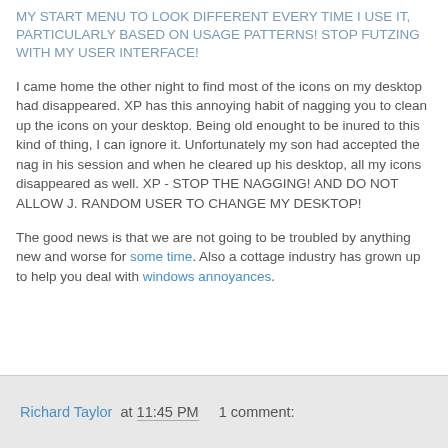MY START MENU TO LOOK DIFFERENT EVERY TIME I USE IT, PARTICULARLY BASED ON USAGE PATTERNS! STOP FUTZING WITH MY USER INTERFACE!
I came home the other night to find most of the icons on my desktop had disappeared. XP has this annoying habit of nagging you to clean up the icons on your desktop. Being old enought to be inured to this kind of thing, I can ignore it. Unfortunately my son had accepted the nag in his session and when he cleared up his desktop, all my icons disappeared as well. XP - STOP THE NAGGING! AND DO NOT ALLOW J. RANDOM USER TO CHANGE MY DESKTOP!
The good news is that we are not going to be troubled by anything new and worse for some time. Also a cottage industry has grown up to help you deal with windows annoyances.
Richard Taylor at 11:45 PM    1 comment: